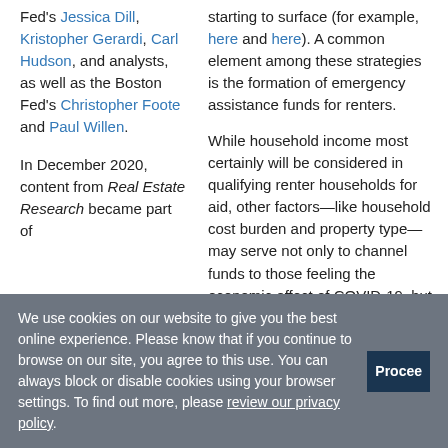Fed's Jessica Dill, Kristopher Gerardi, Carl Hudson, and analysts, as well as the Boston Fed's Christopher Foote and Paul Willen.
In December 2020, content from Real Estate Research became part of
starting to surface (for example, here and here). A common element among these strategies is the formation of emergency assistance funds for renters.
While household income most certainly will be considered in qualifying renter households for aid, other factors—like household cost burden and property type—may serve not only to channel funds to those feeling the economic effect of COVID-19, but also to help municipalities preserve their limited stock of affordable
We use cookies on our website to give you the best online experience. Please know that if you continue to browse on our site, you agree to this use. You can always block or disable cookies using your browser settings. To find out more, please review our privacy policy.